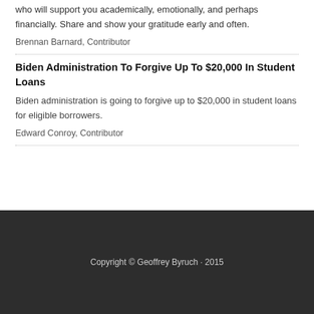If you are applying to college, identify your team — those who will support you academically, emotionally, and perhaps financially. Share and show your gratitude early and often.
Brennan Barnard, Contributor
Biden Administration To Forgive Up To $20,000 In Student Loans
Biden administration is going to forgive up to $20,000 in student loans for eligible borrowers.
Edward Conroy, Contributor
Copyright © Geoffrey Byruch · 2015